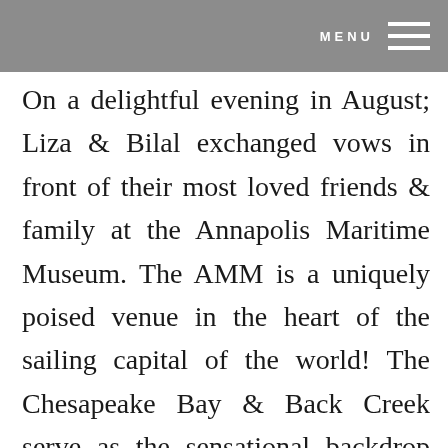MENU
On a delightful evening in August; Liza & Bilal exchanged vows in front of their most loved friends & family at the Annapolis Maritime Museum. The AMM is a uniquely poised venue in the heart of the sailing capital of the world! The Chesapeake Bay & Back Creek serve as the sensational backdrop where Liza […]